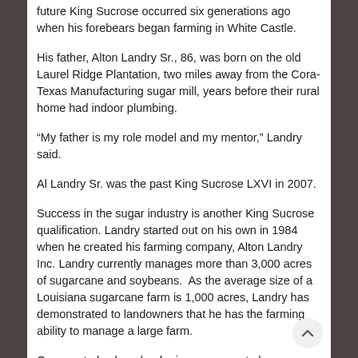future King Sucrose occurred six generations ago when his forebears began farming in White Castle.
His father, Alton Landry Sr., 86, was born on the old Laurel Ridge Plantation, two miles away from the Cora-Texas Manufacturing sugar mill, years before their rural home had indoor plumbing.
“My father is my role model and my mentor,” Landry said.
Al Landry Sr. was the past King Sucrose LXVI in 2007.
Success in the sugar industry is another King Sucrose qualification. Landry started out on his own in 1984 when he created his farming company, Alton Landry Inc. Landry currently manages more than 3,000 acres of sugarcane and soybeans.  As the average size of a Louisiana sugarcane farm is 1,000 acres, Landry has demonstrated to landowners that he has the farming ability to manage a large farm.
One must also be a leader in sugarcane to be considered to represent the festival. Landry has that base covered as well. He’s a big believer in